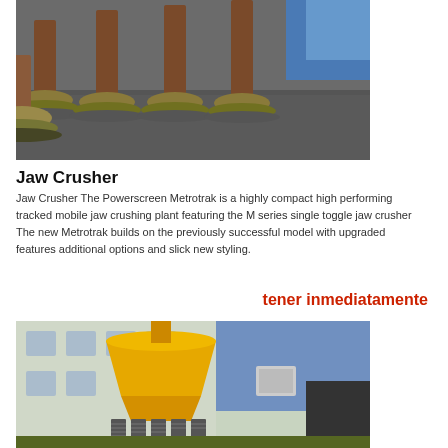[Figure (photo): Industrial jaw crusher components — rows of metal flange/bolt posts on a steel surface, showing rust and wear]
Jaw Crusher
Jaw Crusher The Powerscreen Metrotrak is a highly compact high performing tracked mobile jaw crushing plant featuring the M series single toggle jaw crusher The new Metrotrak builds on the previously successful model with upgraded features additional options and slick new styling.
tener inmediatamente
[Figure (photo): Yellow cone crusher machine outdoors near a building, with large coil springs at its base]